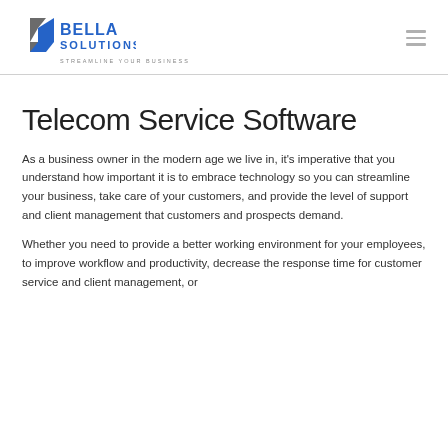[Figure (logo): Bella Solutions logo with stylized S icon, blue text 'BELLA SOLUTIONS' and tagline 'STREAMLINE YOUR BUSINESS']
Telecom Service Software
As a business owner in the modern age we live in, it's imperative that you understand how important it is to embrace technology so you can streamline your business, take care of your customers, and provide the level of support and client management that customers and prospects demand.
Whether you need to provide a better working environment for your employees, to improve workflow and productivity, decrease the response time for customer service and client management, or